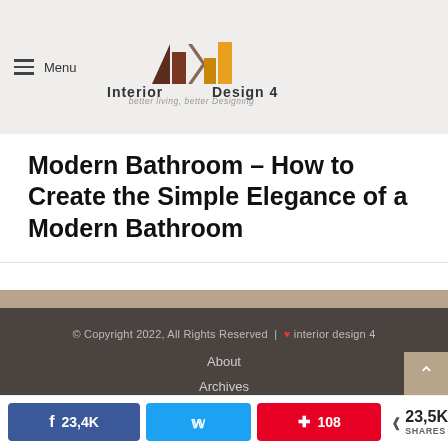[Figure (logo): Interior Design 4 logo with stylized bar chart icon and text 'better living, better Designing']
Modern Bathroom – How to Create the Simple Elegance of a Modern Bathroom
© Copyright 2022, All Rights Reserved | ❤ interior design 4
About
Archives
Contact Us
design1
23,4K  108  23,5K SHARES